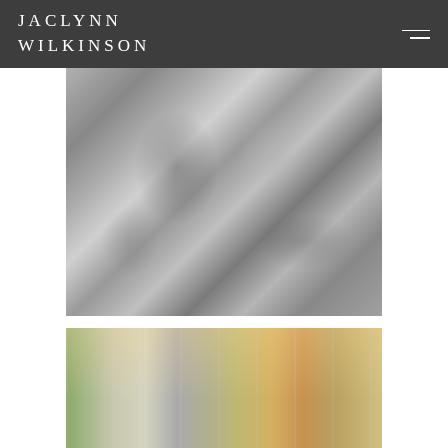JACLYNN WILKINSON
[Figure (photo): Black and white photograph of a bride in a lace and satin robe being helped, possibly having dress or robe adjusted by another person, interior setting]
[Figure (photo): Color photograph of large windows in an interior space with warm wood tones visible, green trees outside, warm ceiling accents visible]